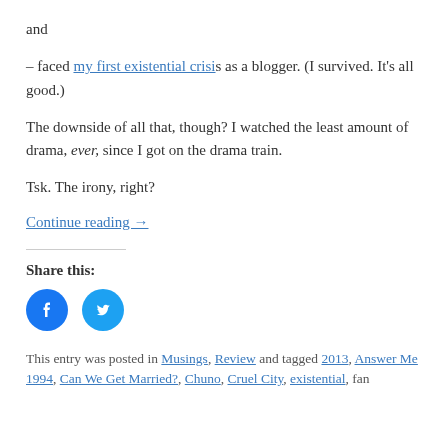and
– faced my first existential crisis as a blogger. (I survived. It's all good.)
The downside of all that, though? I watched the least amount of drama, ever, since I got on the drama train.
Tsk. The irony, right?
Continue reading →
Share this:
[Figure (other): Facebook and Twitter share icon buttons]
This entry was posted in Musings, Review and tagged 2013, Answer Me 1994, Can We Get Married?, Chuno, Cruel City, existential, fan